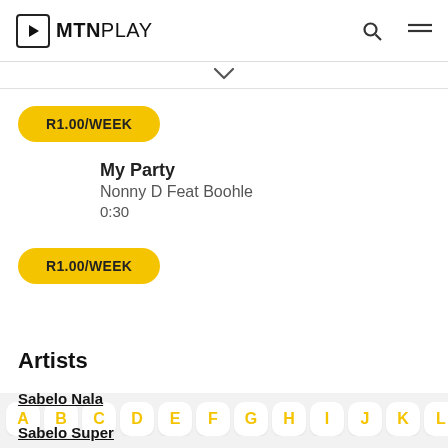MTN PLAY
R1.00/WEEK
My Party
Nonny D Feat Boohle
0:30
R1.00/WEEK
Artists
[Figure (screenshot): Alphabet letter filter bubbles: A B C D E F G H I J K L M ...]
Sabelo Nala
Sabelo Super